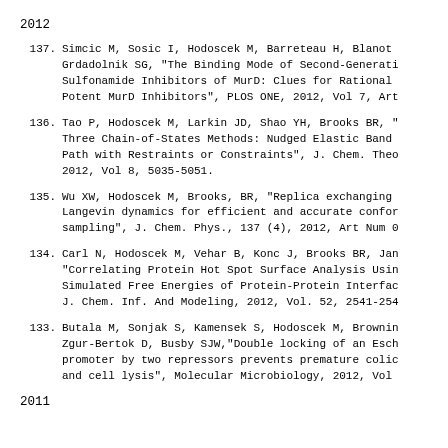2012
137. Simcic M, Sosic I, Hodoscek M, Barreteau H, Blanot DF, Grdadolnik SG, "The Binding Mode of Second-Generation Sulfonamide Inhibitors of MurD: Clues for Rational Potent MurD Inhibitors", PLOS ONE, 2012, Vol 7, Art
136. Tao P, Hodoscek M, Larkin JD, Shao YH, Brooks BR, "Comparison of Three Chain-of-States Methods: Nudged Elastic Band and Replica Path with Restraints or Constraints", J. Chem. Theo. Comput. 2012, Vol 8, 5035-5051.
135. Wu XW, Hodoscek M, Brooks, BR, "Replica exchanging self-guided Langevin dynamics for efficient and accurate conformational sampling", J. Chem. Phys., 137 (4), 2012, Art Num 0
134. Carl N, Hodoscek M, Vehar B, Konc J, Brooks BR, Jan..., "Correlating Protein Hot Spot Surface Analysis Using Simulated Free Energies of Protein-Protein Interfaces", J. Chem. Inf. And Modeling, 2012, Vol. 52, 2541-254
133. Butala M, Sonjak S, Kamensek S, Hodoscek M, Brownin..., Zgur-Bertok D, Busby SJW,"Double locking of an Esch... promoter by two repressors prevents premature colic... and cell lysis", Molecular Microbiology, 2012, Vol
2011